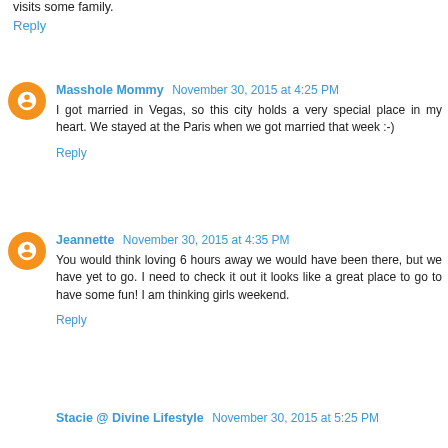visits some family.
Reply
Masshole Mommy  November 30, 2015 at 4:25 PM
I got married in Vegas, so this city holds a very special place in my heart. We stayed at the Paris when we got married that week :-)
Reply
Jeannette  November 30, 2015 at 4:35 PM
You would think loving 6 hours away we would have been there, but we have yet to go. I need to check it out it looks like a great place to go to have some fun! I am thinking girls weekend.
Reply
Stacie @ Divine Lifestyle  November 30, 2015 at 5:25 PM